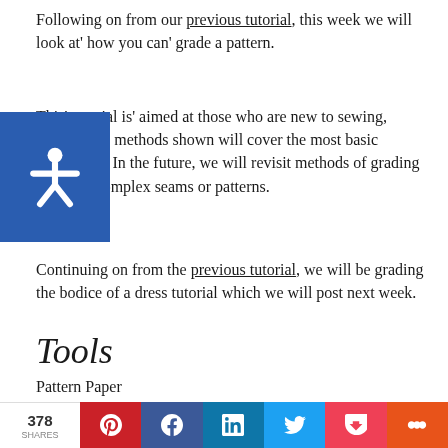Following on from our previous tutorial, this week we will look at' how you can' grade a pattern.
This' tutorial is' aimed at those who are new to sewing, therefor the methods shown will cover the most basic techniques. In the future, we will revisit methods of grading for more complex seams or patterns.
Continuing on from the previous tutorial, we will be grading the bodice of a dress tutorial which we will post next week.
Tools
Pattern Paper
Pens (in various colours if it helps)
Tape measure
378 SHARES | Pinterest | Facebook | LinkedIn | Twitter | Pocket | More